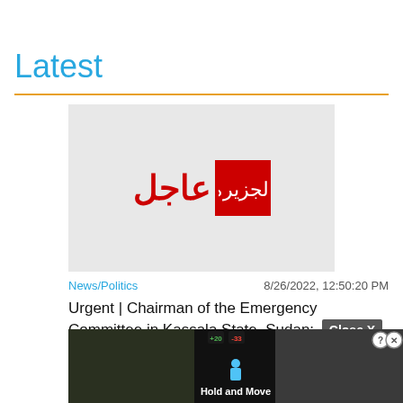Latest
[Figure (screenshot): Al Jazeera breaking news image with Arabic text 'عاجل' (Breaking) in red on a light grey background, with the Al Jazeera logo in a red box]
News/Politics
8/26/2022, 12:50:20 PM
Urgent | Chairman of the Emergency Committee in Kassala State, Sudan: [Close X button overlay]
[Figure (screenshot): Ad overlay showing 'Hold and Move' game advertisement with tree background images and score display]